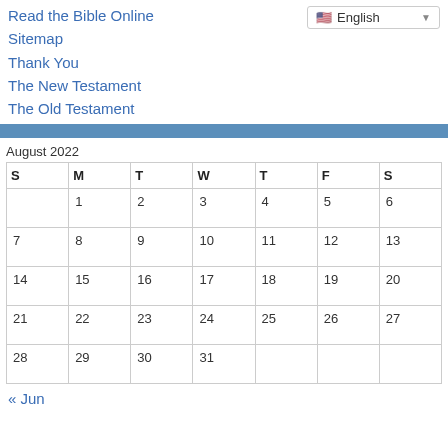Read the Bible Online
Sitemap
Thank You
The New Testament
The Old Testament
English
August 2022
| S | M | T | W | T | F | S |
| --- | --- | --- | --- | --- | --- | --- |
|  | 1 | 2 | 3 | 4 | 5 | 6 |
| 7 | 8 | 9 | 10 | 11 | 12 | 13 |
| 14 | 15 | 16 | 17 | 18 | 19 | 20 |
| 21 | 22 | 23 | 24 | 25 | 26 | 27 |
| 28 | 29 | 30 | 31 |  |  |  |
« Jun